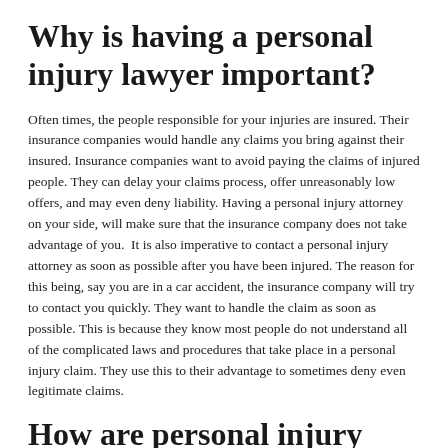Why is having a personal injury lawyer important?
Often times, the people responsible for your injuries are insured. Their insurance companies would handle any claims you bring against their insured. Insurance companies want to avoid paying the claims of injured people. They can delay your claims process, offer unreasonably low offers, and may even deny liability. Having a personal injury attorney on your side, will make sure that the insurance company does not take advantage of you.  It is also imperative to contact a personal injury attorney as soon as possible after you have been injured. The reason for this being, say you are in a car accident, the insurance company will try to contact you quickly. They want to handle the claim as soon as possible. This is because they know most people do not understand all of the complicated laws and procedures that take place in a personal injury claim. They use this to their advantage to sometimes deny even legitimate claims.
How are personal injury